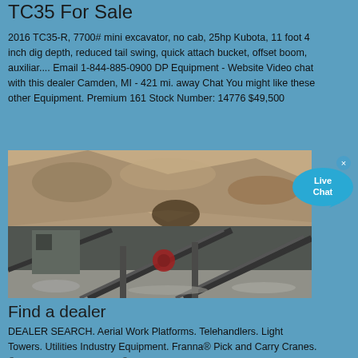TC35 For Sale
2016 TC35-R, 7700# mini excavator, no cab, 25hp Kubota, 11 foot 4 inch dig depth, reduced tail swing, quick attach bucket, offset boom, auxiliar.... Email 1-844-885-0900 DP Equipment - Website Video chat with this dealer Camden, MI - 421 mi. away Chat You might like these other Equipment. Premium 161 Stock Number: 14776 $49,500
[Figure (photo): Aerial view of a quarry crushing and conveyor equipment operation set against a rocky hillside]
Find a dealer
DEALER SEARCH. Aerial Work Platforms. Telehandlers. Light Towers. Utilities Industry Equipment. Franna® Pick and Carry Cranes. ® Rough Terrain Cranes. ® Tower Cranes.